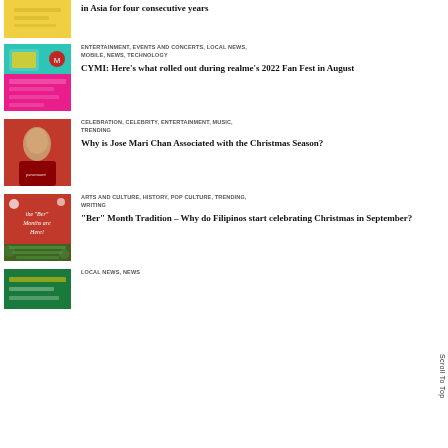[Figure (illustration): Yellow thumbnail image for article about Asia]
in Asia for four consecutive years
[Figure (illustration): Colorful thumbnail with teal and pink for realme Fan Fest article]
ENTERTAINMENT, EVENTS AND CONCERTS, LOCAL NEWS, MOBILE, NEWS, TECHNOLOGY
CYMI: Here's what rolled out during realme's 2022 Fan Fest in August
[Figure (photo): Red thumbnail with Jose Mari Chan portrait]
CELEBRATION, CELEBRITY, ENTERTAINMENT, MUSIC, TRENDING
Why is Jose Mari Chan Associated with the Christmas Season?
[Figure (illustration): Christmas-themed red thumbnail with Ber months text]
ARTS AND CULTURE, HISTORY, POP CULTURE, TRENDING, WRITING
“Ber” Month Tradition – Why do Filipinos start celebrating Christmas in September?
[Figure (illustration): Green thumbnail partial view]
LOCAL NEWS, NEWS